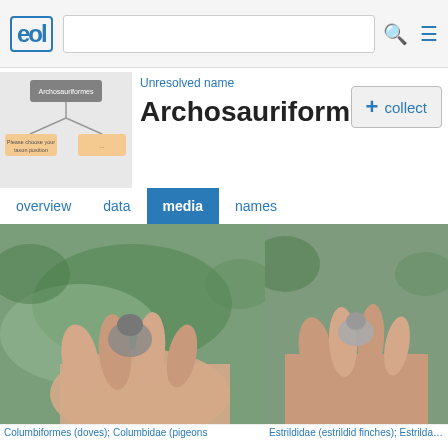EOL - Archosauriformes - media
Archosauriformes
Unresolved name
[Figure (screenshot): EOL website navigation bar with logo, search box, and menu icon]
[Figure (photo): Hand holding a bird - Columbiformes (doves); Columbidae (pigeons)]
Columbiformes (doves); Columbidae (pigeons
[Figure (photo): Hand holding a small bird - Estrildidae (estrildid finches); Estrilda; Carina]
Estrildidae (estrildid finches); Estrilda; Carinat
[Figure (photo): Close-up of a green fluffy baby bird facing camera - Columbiformes (doves); Columbidae (pigeons)]
Columbiformes (doves); Columbidae (pigeons
[Figure (other): Dark panel with video camera icon - Turdidae (thrushes); Turdus (Thrush); Carina]
Turdidae (thrushes); Turdus (Thrush); Carina